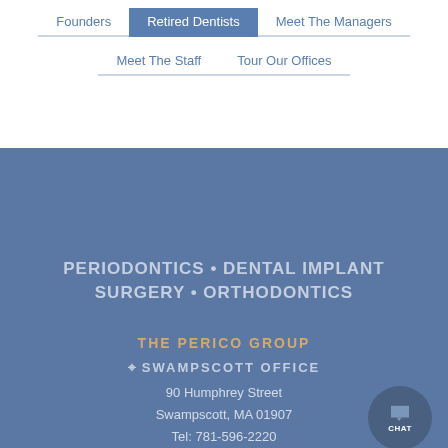Founders
Retired Dentists
Meet The Managers
Meet The Staff
Tour Our Offices
PERIODONTICS • DENTAL IMPLANT SURGERY • ORTHODONTICS
THE PERICO GROUP
SWAMPSCOTT OFFICE
90 Humphrey Street
Swampscott, MA 01907
Tel: 781-596-2220